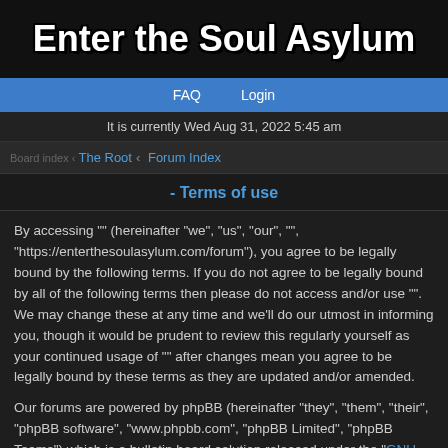Enter the Soul Asylum
FAQ   Login
It is currently Wed Aug 31, 2022 5:45 am
The Root • Forum Index
- Terms of use
By accessing "" (hereinafter "we", "us", "our", "", "https://enterthesoulasylum.com/forum"), you agree to be legally bound by the following terms. If you do not agree to be legally bound by all of the following terms then please do not access and/or use "". We may change these at any time and we'll do our utmost in informing you, though it would be prudent to review this regularly yourself as your continued usage of "" after changes mean you agree to be legally bound by these terms as they are updated and/or amended.
Our forums are powered by phpBB (hereinafter "they", "them", "their", "phpBB software", "www.phpbb.com", "phpBB Limited", "phpBB Teams") which is a bulletin board solution released under the "GNU General Public License v2" (hereinafter "GPL") and can be downloaded from www.phpbb.com. The phpBB software only facilitates internet based discussions; phpBB Limited is not